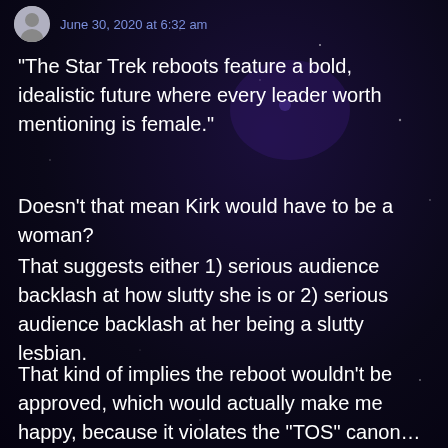June 30, 2020 at 6:32 am
“The Star Trek reboots feature a bold, idealistic future where every leader worth mentioning is female.”
Doesn’t that mean Kirk would have to be a woman?
That suggests either 1) serious audience backlash at how slutty she is or 2) serious audience backlash at her being a slutty lesbian.
That kind of implies the reboot wouldn’t be approved, which would actually make me happy, because it violates the “TOS” canon… It also implies making Spock a woman & turning all that slashfic on its head.